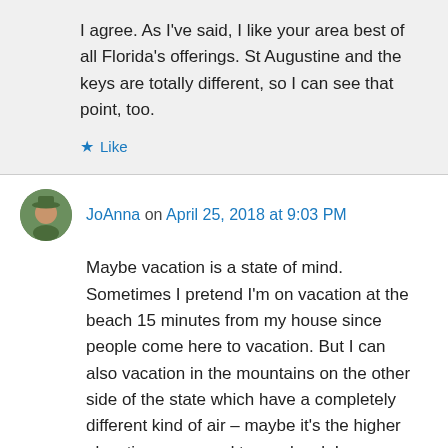I agree. As I've said, I like your area best of all Florida's offerings. St Augustine and the keys are totally different, so I can see that point, too.
★ Like
JoAnna on April 25, 2018 at 9:03 PM
Maybe vacation is a state of mind. Sometimes I pretend I'm on vacation at the beach 15 minutes from my house since people come here to vacation. But I can also vacation in the mountains on the other side of the state which have a completely different kind of air – maybe it's the higher elevation compared to sea level. I